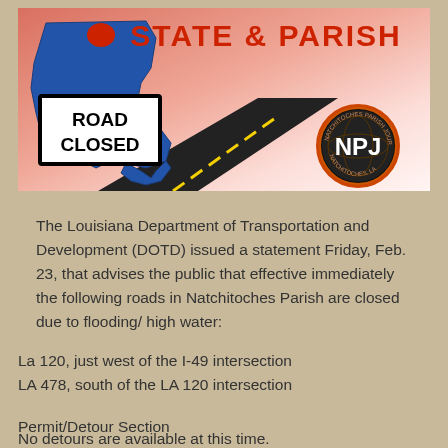[Figure (infographic): Banner image showing Louisiana state map in blue with a red highlighted parish, a road with yellow center lines, a ROAD CLOSED sign, orange/pink gradient background with text 'STATE & PARISH' in red bold letters, and NPJ (Natchitoches Parish Journal) circular logo in bottom right.]
The Louisiana Department of Transportation and Development (DOTD) issued a statement Friday, Feb. 23, that advises the public that effective immediately the following roads in Natchitoches Parish are closed due to flooding/ high water:
La 120, just west of the I-49 intersection
LA 478, south of the LA 120 intersection
Permit/Detour Section
No detours are available at this time.